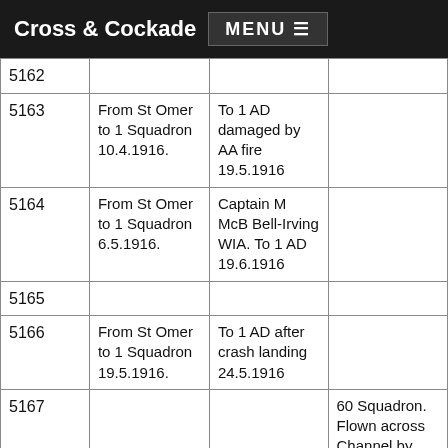Cross & Cockade   MENU
|  |  |  |  |
| --- | --- | --- | --- |
| 5162 |  |  |  |
| 5163 | From St Omer to 1 Squadron 10.4.1916. | To 1 AD damaged by AA fire 19.5.1916 |  |
| 5164 | From St Omer to 1 Squadron 6.5.1916. | Captain M McB Bell-Irving WIA. To 1 AD 19.6.1916 |  |
| 5165 |  |  |  |
| 5166 | From St Omer to 1 Squadron 19.5.1916. | To 1 AD after crash landing 24.5.1916 |  |
| 5167 |  |  | 60 Squadron. Flown across Channel by |